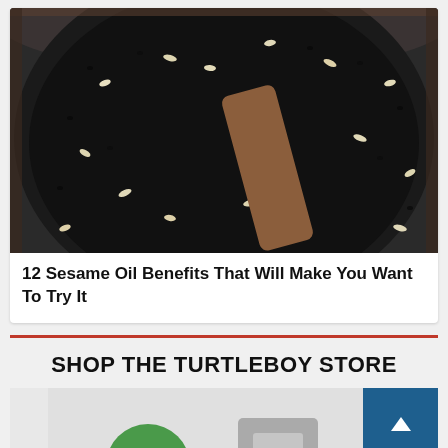[Figure (photo): Close-up photo of a dark non-stick frying pan with black sesame seeds and white sesame seeds scattered throughout, with a wooden spoon resting in the pan.]
12 Sesame Oil Benefits That Will Make You Want To Try It
SHOP THE TURTLEBOY STORE
[Figure (photo): Partial view of merchandise items in the Turtleboy Store, showing a green item and a gray item on a light background.]